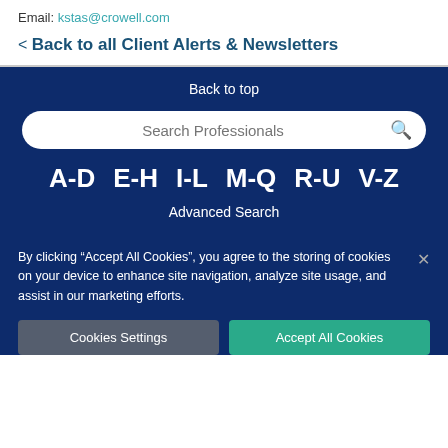Email: kstas@crowell.com
< Back to all Client Alerts & Newsletters
Back to top
Search Professionals
A-D  E-H  I-L  M-Q  R-U  V-Z
Advanced Search
By clicking “Accept All Cookies”, you agree to the storing of cookies on your device to enhance site navigation, analyze site usage, and assist in our marketing efforts.
Cookies Settings
Accept All Cookies